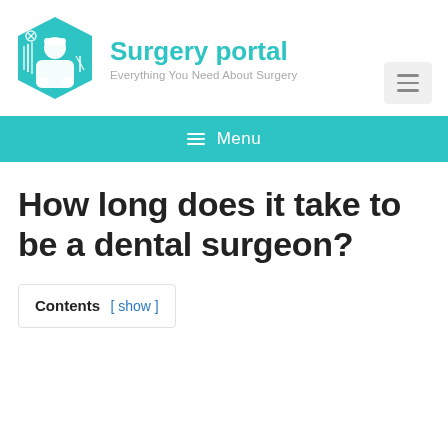[Figure (logo): Surgery portal hexagonal logo with teal background featuring surgical tools and a surgeon figure in white]
Surgery portal
Everything You Need About Surgery
≡ Menu
How long does it take to be a dental surgeon?
Contents [ show ]